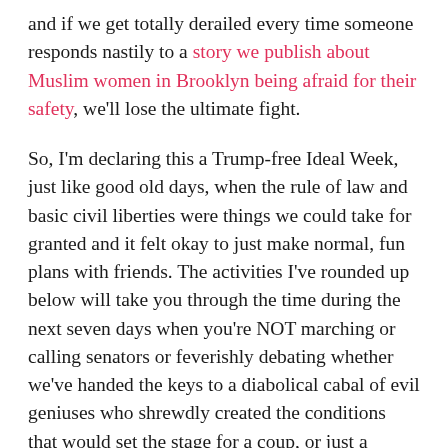and if we get totally derailed every time someone responds nastily to a story we publish about Muslim women in Brooklyn being afraid for their safety, we'll lose the ultimate fight.
So, I'm declaring this a Trump-free Ideal Week, just like good old days, when the rule of law and basic civil liberties were things we could take for granted and it felt okay to just make normal, fun plans with friends. The activities I've rounded up below will take you through the time during the next seven days when you're NOT marching or calling senators or feverishly debating whether we've handed the keys to a diabolical cabal of evil geniuses who shrewdly created the conditions that would set the stage for a coup, or just a bunch of bumbling idiots who have no idea what they are doing and think a